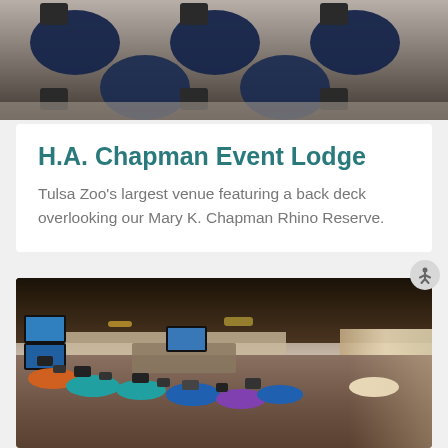[Figure (photo): Top-down view of banquet tables with dark navy tablecloths and chairs arranged in an event space]
H.A. Chapman Event Lodge
Tulsa Zoo's largest venue featuring a back deck overlooking our Mary K. Chapman Rhino Reserve.
[Figure (photo): Interior of the H.A. Chapman Event Lodge showing colorful round tables with blue, teal, orange, and purple tablecloths, chairs, TV screens on walls, bar area, and polished concrete floor]